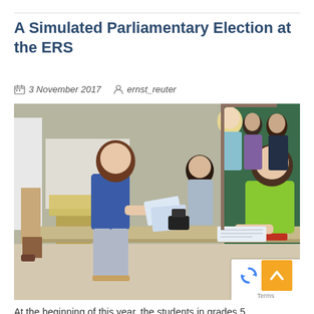A Simulated Parliamentary Election at the ERS
3 November 2017   ernst_reuter
[Figure (photo): Students participating in a simulated parliamentary election at school. A girl in a blue shirt hands ballot papers to a boy in a green shirt seated at a desk. Other students and adults are visible in the background in a classroom setting.]
At the beginning of this year, the students in grades 5